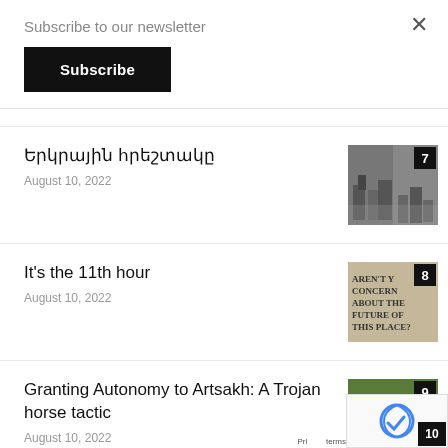Subscribe to our newsletter
Subscribe
Երկրային հրեշտակը
August 10, 2022
It's the 11th hour
August 10, 2022
Granting Autonomy to Artsakh: A Trojan horse tactic
August 10, 2022
«…Հայաստանի և ստեղծության մեջ կռտող կուռոպchel»